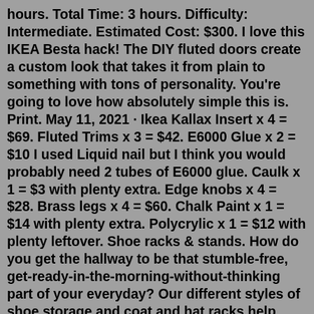hours. Total Time: 3 hours. Difficulty: Intermediate. Estimated Cost: $300. I love this IKEA Besta hack! The DIY fluted doors create a custom look that takes it from plain to something with tons of personality. You're going to love how absolutely simple this is. Print. May 11, 2021 · Ikea Kallax Insert x 4 = $69. Fluted Trims x 3 = $42. E6000 Glue x 2 = $10 I used Liquid nail but I think you would probably need 2 tubes of E6000 glue. Caulk x 1 = $3 with plenty extra. Edge knobs x 4 = $28. Brass legs x 4 = $60. Chalk Paint x 1 = $14 with plenty extra. Polycrylic x 1 = $12 with plenty leftover. Shoe racks & stands. How do you get the hallway to be that stumble-free, get-ready-in-the-morning-without-thinking part of your everyday? Our different styles of shoe storage and coat and hat racks help make your outdoor things easy to get at without using up too much of your space. 18 items. All filters. Nov 17, 2021 · Before and After: A One-Day, $94 Hack Gives a Basic IKEA MALM Dresser a Style Boost. by Megan Baker. published Nov 17, 2021. Page